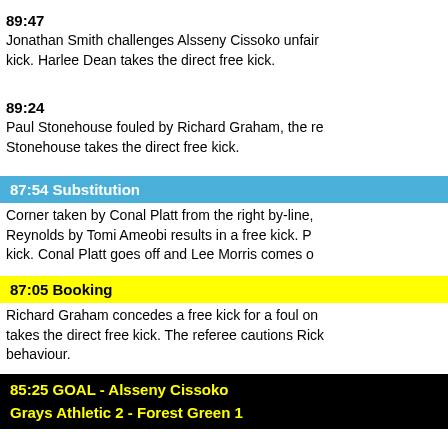89:47
Jonathan Smith challenges Alsseny Cissoko unfairly. kick. Harlee Dean takes the direct free kick.
89:24
Paul Stonehouse fouled by Richard Graham, the re Stonehouse takes the direct free kick.
87:54 Substitution
Corner taken by Conal Platt from the right by-line, Reynolds by Tomi Ameobi results in a free kick. P kick. Conal Platt goes off and Lee Morris comes o
87:05 Booking
Richard Graham concedes a free kick for a foul on takes the direct free kick. The referee cautions Ric behaviour.
85:25 GOAL - Alsseny Cissoko
Grays Athletic 2 - Forest Green 1
Outswinging corner taken left-footed by Alex Rho Alsseny Cissoko finds the back of the net with a he six-yard box. Grays Athletic 2-1 Forest Green.Assi
83:51